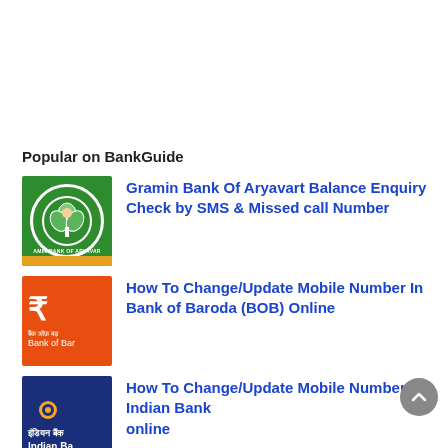Popular on BankGuide
[Figure (logo): Gramin Bank of Aryavart logo – green circular emblem on green background with orange bottom stripe]
Gramin Bank Of Aryavart Balance Enquiry Check by SMS & Missed call Number
[Figure (logo): Bank of Baroda logo – orange background with white '3' symbol and Hindi/English text]
How To Change/Update Mobile Number In Bank of Baroda (BOB) Online
[Figure (logo): Indian Bank logo – dark blue background with Hindi and English bank name]
How To Change/Update Mobile Number in Indian Bank online